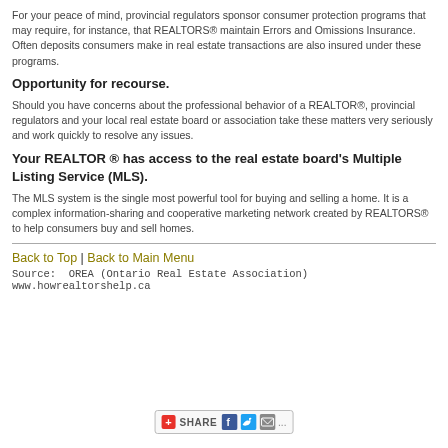For your peace of mind, provincial regulators sponsor consumer protection programs that may require, for instance, that REALTORS® maintain Errors and Omissions Insurance. Often deposits consumers make in real estate transactions are also insured under these programs.
Opportunity for recourse.
Should you have concerns about the professional behavior of a REALTOR®, provincial regulators and your local real estate board or association take these matters very seriously and work quickly to resolve any issues.
Your REALTOR ® has access to the real estate board's Multiple Listing Service (MLS).
The MLS system is the single most powerful tool for buying and selling a home. It is a complex information-sharing and cooperative marketing network created by REALTORS® to help consumers buy and sell homes.
Back to Top | Back to Main Menu
Source:  OREA (Ontario Real Estate Association) www.howrealtorshelp.ca
[Figure (other): Share button bar with social media icons for Facebook, Twitter, email and more options]